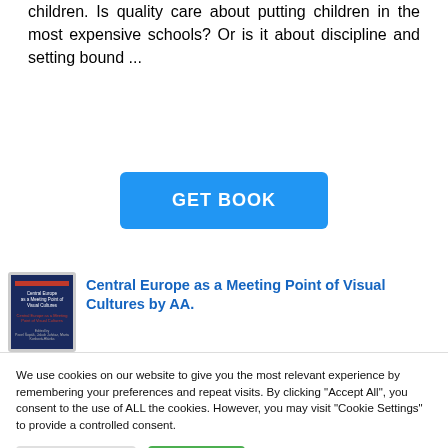children. Is quality care about putting children in the most expensive schools? Or is it about discipline and setting bound ...
GET BOOK
[Figure (illustration): Book cover for 'Central Europe as a Meeting Point of Visual Cultures' with dark blue background and red title bar]
Central Europe as a Meeting Point of Visual Cultures by AA.
We use cookies on our website to give you the most relevant experience by remembering your preferences and repeat visits. By clicking "Accept All", you consent to the use of ALL the cookies. However, you may visit "Cookie Settings" to provide a controlled consent.
Cookie Settings
Accept All